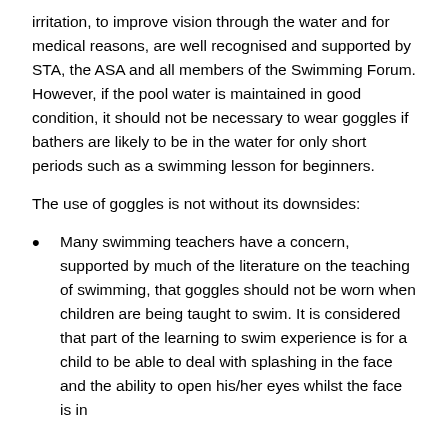irritation, to improve vision through the water and for medical reasons, are well recognised and supported by STA, the ASA and all members of the Swimming Forum. However, if the pool water is maintained in good condition, it should not be necessary to wear goggles if bathers are likely to be in the water for only short periods such as a swimming lesson for beginners.
The use of goggles is not without its downsides:
Many swimming teachers have a concern, supported by much of the literature on the teaching of swimming, that goggles should not be worn when children are being taught to swim. It is considered that part of the learning to swim experience is for a child to be able to deal with splashing in the face and the ability to open his/her eyes whilst the face is in